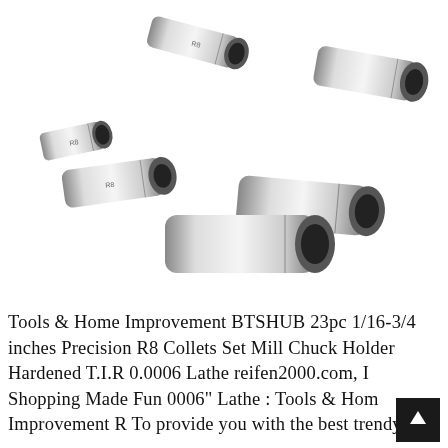[Figure (photo): Six precision R8 collets made of shiny stainless steel, arranged in a scattered grouping on a white background. The collets are cylindrical tool holders of varying sizes with slotted ends and labeled 'R8'.]
Tools & Home Improvement BTSHUB 23pc 1/16-3/4 inches Precision R8 Collets Set Mill Chuck Holder Hardened T.I.R 0.0006 Lathe reifen2000.com, I Shopping Made Fun 0006" Lathe : Tools & Home Improvement R To provide you with the best trendy